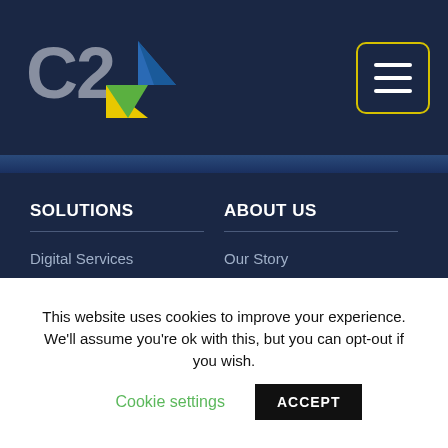[Figure (logo): C2 company logo with blue and yellow/green triangle icon on dark navy background]
[Figure (screenshot): Hamburger menu icon button with yellow border on dark navy background]
SOLUTIONS
Digital Services
Cloud Solutions
Managed Services
ABOUT US
Our Story
Management Team
Careers
QUICK LINKS
Clients
This website uses cookies to improve your experience. We'll assume you're ok with this, but you can opt-out if you wish. Cookie settings ACCEPT